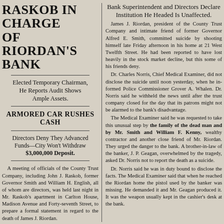RASKOB IN CHARGE OF RIORDAN'S BANK
Elected Temporary Chairman, He Reports Audit Shows Ample Assets.
ARMORED CAR RUSHES CASH
Directors Deny They Advanced Funds—City Won't Withdraw $3,000,000 Deposit.
A meeting of officials of the County Trust Company, including John J. Raskob, former Governor Smith and William H. English, all of whom are directors, was held last night in Mr. Raskob's apartment in Carlton House, Madison Avenue and Forty-seventh Street, to prepare a formal statement in regard to the death of James J. Riordan. Prior to the completion of the statement, Mr. Raskob announced that he had been elected temporary chairman of the board of the County Trust Company and that Mr. English had been elected temporary president.
Bank Superintendent and Directors Declare Institution He Headed Is Unaffected.
James J. Riordan, president of the County Trust Company and intimate friend of former Governor Alfred E. Smith, committed suicide by shooting himself late Friday afternoon in his home at 21 West Twelfth Street. He had been reported to have lost heavily in the stock market decline, but this some of his friends deny. Dr. Charles Norris, Chief Medical Examiner, did not disclose the suicide until noon yesterday, when he informed Police Commissioner Grover A. Whalen. Dr. Norris said he withheld the news until after the trust company closed for the day that its patrons might not be alarmed to the bank's disadvantage. The Medical Examiner said he was requested to take this unusual step by the family of the dead man and by Mr. Smith and William F. Kenny, wealthy contractor and another close friend of Mr. Riordan. They urged the danger to the bank. A brother-in-law of the banker, J. P. Geagan, overwhelmed by the tragedy, asked Dr. Norris not to report the death as a suicide. Dr. Norris said he was in duty bound to disclose the facts. The Medical Examiner said that when he reached the Riordan home the pistol used by the banker was missing. He demanded it and Mr. Geagan produced it. It was the weapon usually kept in the cashier's desk at the bank.